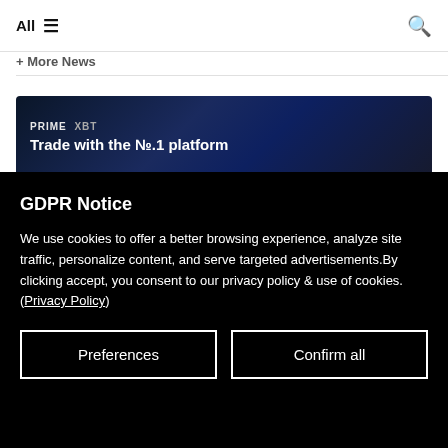All ☰  🔍
+ More News
[Figure (screenshot): PrimeXBT advertisement banner with dark blue background. Logo reads 'PRIME XBT'. Tagline: 'Trade with the No.1 platform']
GDPR Notice
We use cookies to offer a better browsing experience, analyze site traffic, personalize content, and serve targeted advertisements.By clicking accept, you consent to our privacy policy & use of cookies. (Privacy Policy)
Preferences
Confirm all